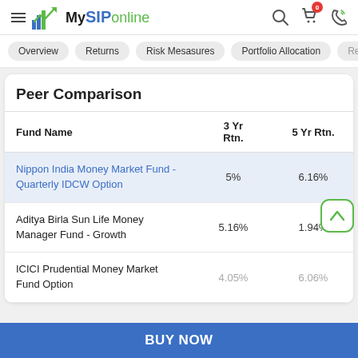MySIPonline
Overview | Returns | Risk Mesasures | Portfolio Allocation | Return
Peer Comparison
| Fund Name | 3 Yr Rtn. | 5 Yr Rtn. |
| --- | --- | --- |
| Nippon India Money Market Fund - Quarterly IDCW Option | 5% | 6.16% |
| Aditya Birla Sun Life Money Manager Fund - Growth | 5.16% | 1.94% |
| ICICI Prudential Money Market Fund Option | 4.05% | 6.06% |
BUY NOW